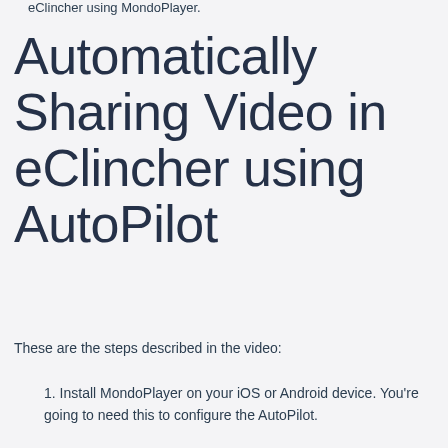eClincher using MondoPlayer.
Automatically Sharing Video in eClincher using AutoPilot
These are the steps described in the video:
1. Install MondoPlayer on your iOS or Android device. You're going to need this to configure the AutoPilot.